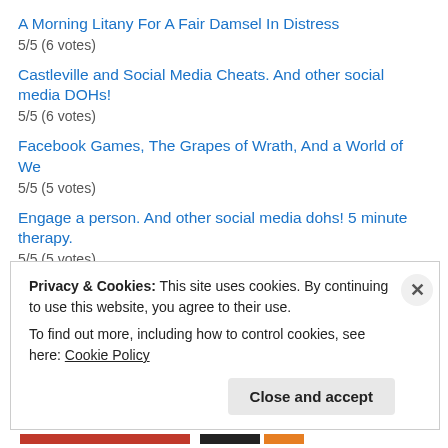A Morning Litany For A Fair Damsel In Distress
5/5 (6 votes)
Castleville and Social Media Cheats. And other social media DOHs!
5/5 (6 votes)
Facebook Games, The Grapes of Wrath, And a World of We
5/5 (5 votes)
Engage a person. And other social media dohs! 5 minute therapy.
5/5 (5 votes)
The First Duty of Love is to Listen! 5 Minute Therapy. Faryna Podcast EP4. #nicheamnesty
5/5 (5 votes)
Do you love strongly? And other social media DOHs. #whole-hearted
5/5 (5 votes)
Privacy & Cookies: This site uses cookies. By continuing to use this website, you agree to their use. To find out more, including how to control cookies, see here: Cookie Policy
Close and accept